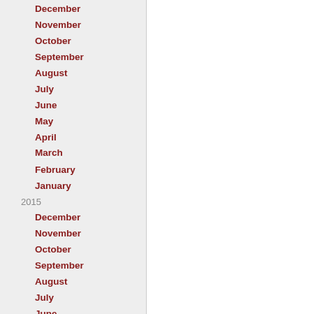December
November
October
September
August
July
June
May
April
March
February
January
2015
December
November
October
September
August
July
June
May
April
March
February
January
2014
December
November
October
September
August
July
June
May
April
March
February
January